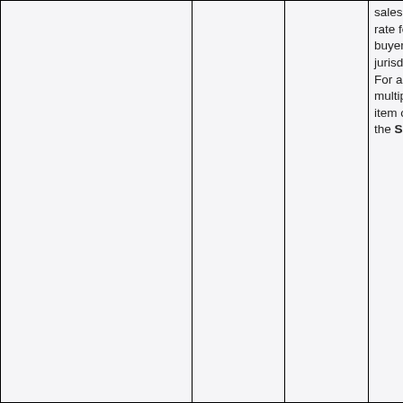|  |  |  | sales tax rate for the buyer's tax jurisdiction. For a multiple line item order, the Sale |